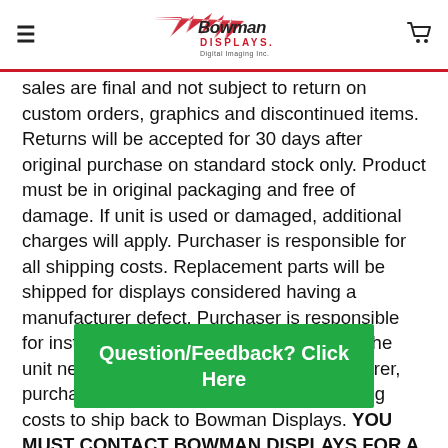Bowman Displays Digital Imaging Inc. [logo and navigation header]
sales are final and not subject to return on custom orders, graphics and discontinued items. Returns will be accepted for 30 days after original purchase on standard stock only. Product must be in original packaging and free of damage. If unit is used or damaged, additional charges will apply. Purchaser is responsible for all shipping costs. Replacement parts will be shipped for displays considered having a manufacturer defect. Purchaser is responsible for installation of the replacement parts. If the unit needs to be repaired by the manufacturer, purchaser will be responsible for all shipping costs to ship back to Bowman Displays. YOU MUST CONTACT BOWMAN DISPLAYS FOR A RETURN AUTHORIZATION (RA) NUMBER BEFORE DISPLAYS ARE RETURNED. Any merchandise s without an RA number w r must appear clear n shipping
[Figure (other): Green feedback button overlay: 'Question/Feedback? Click Here']